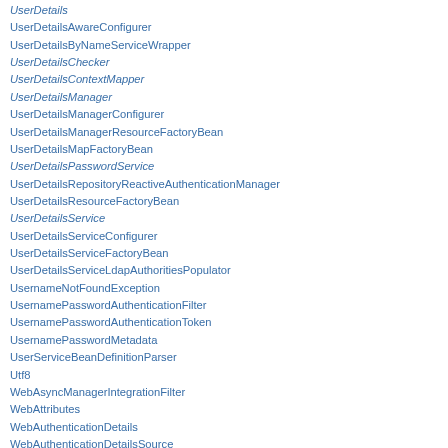UserDetails (italic)
UserDetailsAwareConfigurer
UserDetailsByNameServiceWrapper
UserDetailsChecker (italic)
UserDetailsContextMapper (italic)
UserDetailsManager (italic)
UserDetailsManagerConfigurer
UserDetailsManagerResourceFactoryBean
UserDetailsMapFactoryBean
UserDetailsPasswordService (italic)
UserDetailsRepositoryReactiveAuthenticationManager
UserDetailsResourceFactoryBean
UserDetailsService (italic)
UserDetailsServiceConfigurer
UserDetailsServiceFactoryBean
UserDetailsServiceLdapAuthoritiesPopulator
UsernameNotFoundException
UsernamePasswordAuthenticationFilter
UsernamePasswordAuthenticationToken
UsernamePasswordMetadata
UserServiceBeanDefinitionParser
Utf8
WebAsyncManagerIntegrationFilter
WebAttributes
WebAuthenticationDetails
WebAuthenticationDetailsSource
WebClientReactiveAuthorizationCodeTokenResponseClient
WebClientReactiveClientCredentialsTokenResponseClient